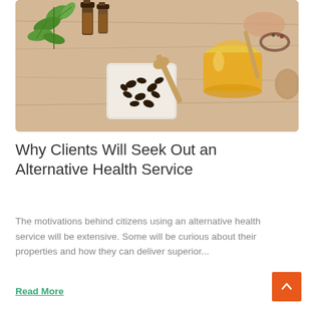[Figure (photo): Photo of natural alternative health ingredients on a wooden table: fresh green herbs, small dark glass bottles with liquid, a glass bowl of dark coffee beans or cloves with a wooden spoon, a jar of honey with a honey dipper, and a beaded bracelet on someone's wrist.]
Why Clients Will Seek Out an Alternative Health Service
The motivations behind citizens using an alternative health service will be extensive. Some will be curious about their properties and how they can deliver superior...
Read More